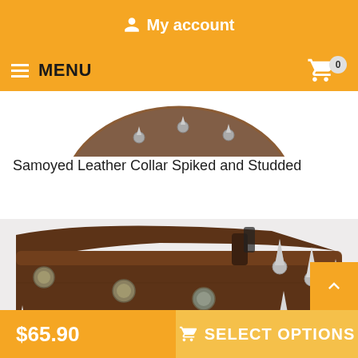My account
MENU
[Figure (photo): Partial top view of a spiked and studded leather dog collar on white background]
Samoyed Leather Collar Spiked and Studded
[Figure (photo): Close-up photo of a dark brown leather collar with metal studs (domed) and spikes (pointed), showing multiple rows across the width of the collar]
$65.90
SELECT OPTIONS